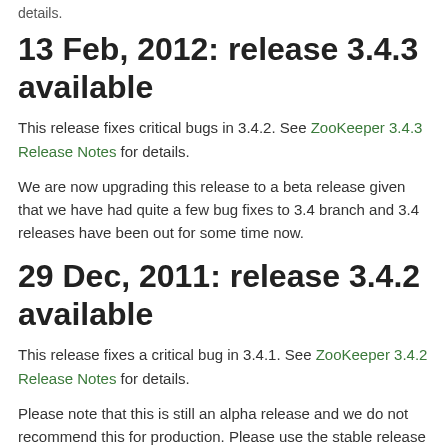details.
13 Feb, 2012: release 3.4.3 available
This release fixes critical bugs in 3.4.2. See ZooKeeper 3.4.3 Release Notes for details.
We are now upgrading this release to a beta release given that we have had quite a few bug fixes to 3.4 branch and 3.4 releases have been out for some time now.
29 Dec, 2011: release 3.4.2 available
This release fixes a critical bug in 3.4.1. See ZooKeeper 3.4.2 Release Notes for details.
Please note that this is still an alpha release and we do not recommend this for production. Please use the stable release line 3.3.* for production use.